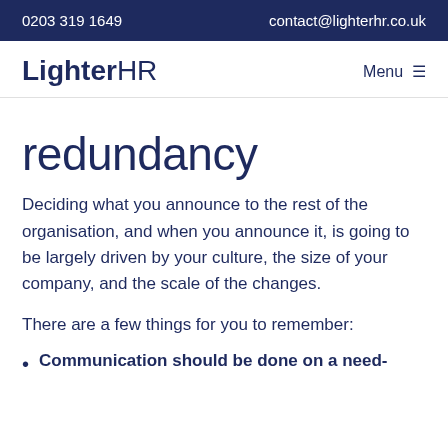0203 319 1649   contact@lighterhr.co.uk
LighterHR
redundancy
Deciding what you announce to the rest of the organisation, and when you announce it, is going to be largely driven by your culture, the size of your company, and the scale of the changes.
There are a few things for you to remember:
Communication should be done on a need-